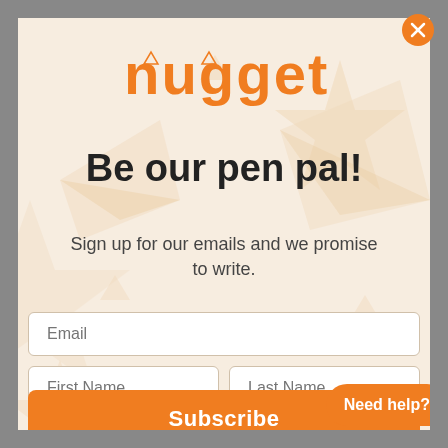[Figure (logo): Nugget brand logo in orange rounded font with small triangle icons inside letters]
Be our pen pal!
Sign up for our emails and we promise to write.
[Figure (infographic): Email signup form with fields: Email, First Name, Last Name, Birthday (MM/DD), and a Subscribe button]